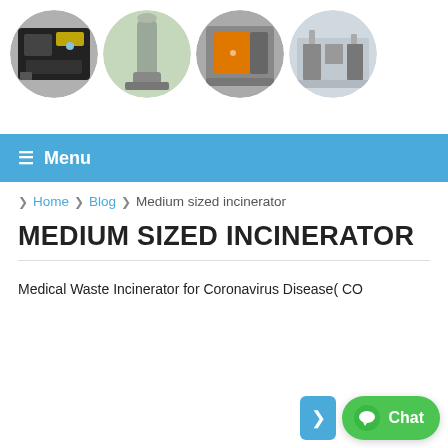[Figure (photo): Four circular cropped photos of industrial incinerator equipment arranged in a row: black machinery unit, tall chimney stack, orange-doored incinerator, and industrial building interior.]
☰  Menu
❯ Home ❯ Blog ❯ Medium sized incinerator
MEDIUM SIZED INCINERATOR
Medical Waste Incinerator for Coronavirus Disease( CO